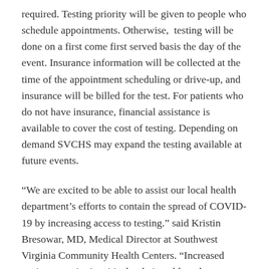required. Testing priority will be given to people who schedule appointments. Otherwise, testing will be done on a first come first served basis the day of the event. Insurance information will be collected at the time of the appointment scheduling or drive-up, and insurance will be billed for the test. For patients who do not have insurance, financial assistance is available to cover the cost of testing. Depending on demand SVCHS may expand the testing available at future events.
“We are excited to be able to assist our local health department’s efforts to contain the spread of COVID-19 by increasing access to testing.” said Kristin Bresowar, MD, Medical Director at Southwest Virginia Community Health Centers. “Increased testing capacity is critical to being able to keep our community safe as our economy begins to reopen.”
Patients with appointments must travel in their